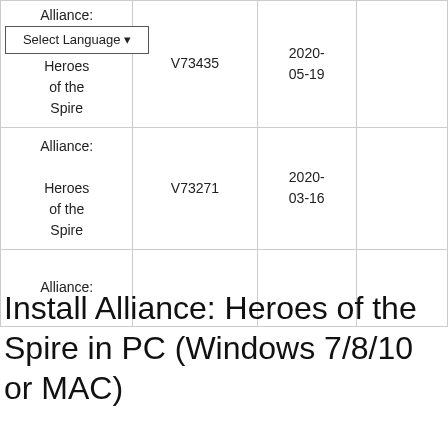| Game | Version | Date |  |
| --- | --- | --- | --- |
| Alliance: Heroes of the Spire | V73435 | 2020-05-19 |  |
| Alliance: Heroes of the Spire | V73271 | 2020-03-16 |  |
| Alliance: |  |  |  |
Install Alliance: Heroes of the Spire in PC (Windows 7/8/10 or MAC)